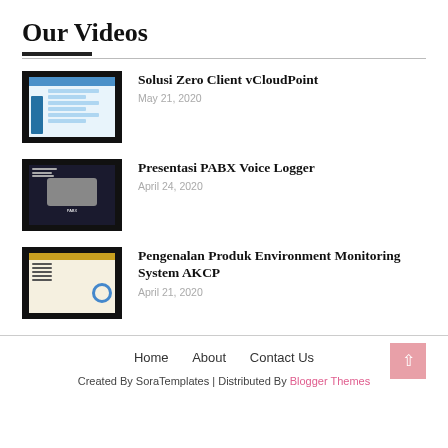Our Videos
Solusi Zero Client vCloudPoint
May 21, 2020
Presentasi PABX Voice Logger
April 24, 2020
Pengenalan Produk Environment Monitoring System AKCP
April 21, 2020
Home   About   Contact Us
Created By SoraTemplates | Distributed By Blogger Themes